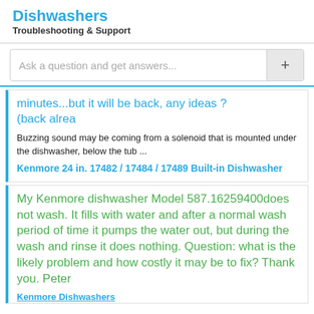Dishwashers
Troubleshooting & Support
Ask a question and get answers...
minutes...but it will be back, any ideas ? (back alrea
Buzzing sound may be coming from a solenoid that is mounted under the dishwasher, below the tub ...
Kenmore 24 in. 17482 / 17484 / 17489 Built-in Dishwasher
My Kenmore dishwasher Model 587.16259400does not wash. It fills with water and after a normal wash period of time it pumps the water out, but during the wash and rinse it does nothing. Question: what is the likely problem and how costly it may be to fix? Thank you. Peter
Kenmore Dishwashers